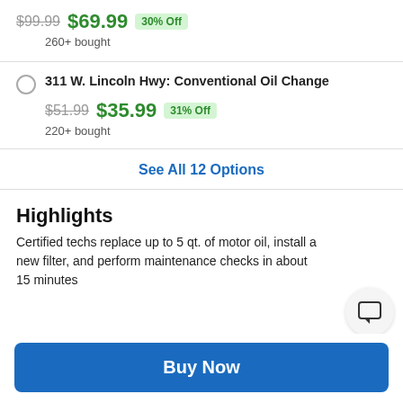311 W. Lincoln Hwy: Conventional Oil Change — $51.99 $35.99 31% Off — 220+ bought
See All 12 Options
Highlights
Certified techs replace up to 5 qt. of motor oil, install a new filter, and perform maintenance checks in about 15 minutes
Buy Now